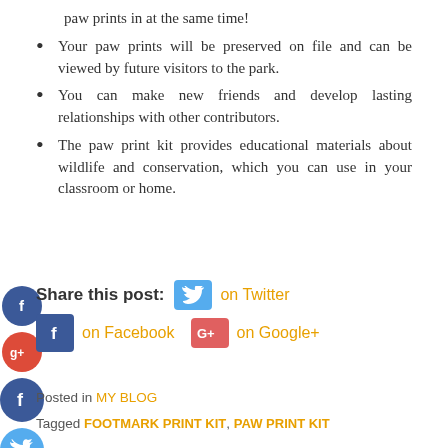paw prints in at the same time!
Your paw prints will be preserved on file and can be viewed by future visitors to the park.
You can make new friends and develop lasting relationships with other contributors.
The paw print kit provides educational materials about wildlife and conservation, which you can use in your classroom or home.
Share this post: on Twitter on Facebook on Google+
Posted in MY BLOG
Tagged FOOTMARK PRINT KIT, PAW PRINT KIT